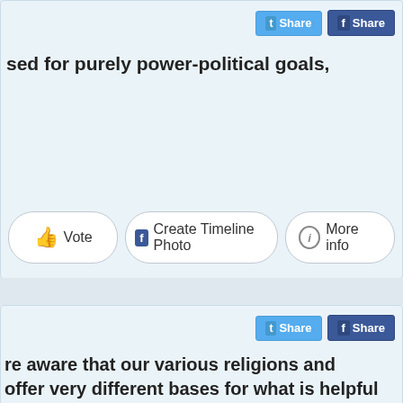[Figure (screenshot): Top card with Twitter and Facebook share buttons, bold text 'sed for purely power-political goals,' and action buttons: Vote, Create Timeline Photo, More info]
[Figure (screenshot): Bottom card with Twitter and Facebook share buttons and bold text beginning 're aware that our various religions and offer very different bases for what is helpful or men and women, what is right and what is']